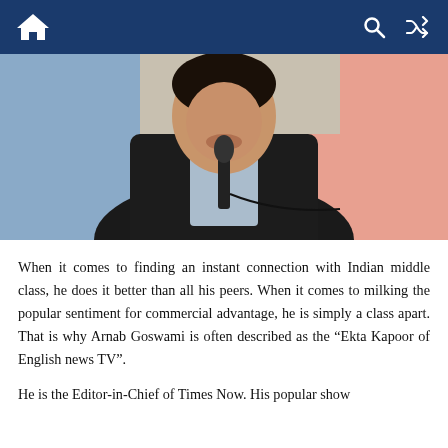Navigation bar with home icon, search icon, and shuffle icon
[Figure (photo): A man in a dark suit and light blue shirt speaking at a podium with a microphone, against a blurred blue and pink background.]
When it comes to finding an instant connection with Indian middle class, he does it better than all his peers. When it comes to milking the popular sentiment for commercial advantage, he is simply a class apart. That is why Arnab Goswami is often described as the “Ekta Kapoor of English news TV”.
He is the Editor-in-Chief of Times Now. His popular show